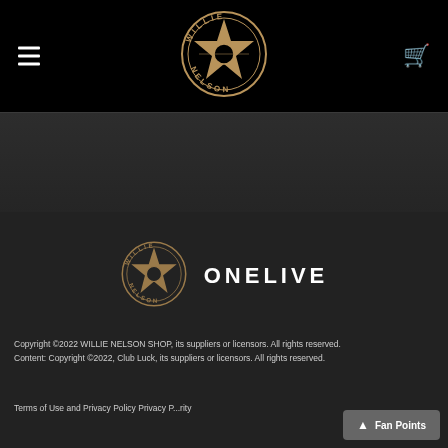Willie Nelson Shop header with hamburger menu, logo, and cart icon
[Figure (logo): Willie Nelson star logo centered in black header]
[Figure (photo): Dark textured hero/banner image area]
[Figure (logo): Willie Nelson star logo small in footer area next to ONELIVE text]
ONELIVE
Copyright ©2022 WILLIE NELSON SHOP, its suppliers or licensors. All rights reserved.
Content: Copyright ©2022, Club Luck, its suppliers or licensors. All rights reserved.
Terms of Use and Privacy Policy Privacy P...rity
Fan Points